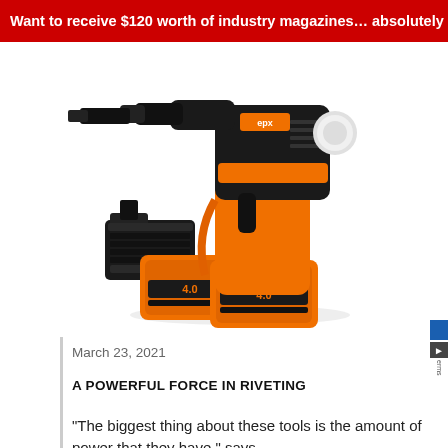Want to receive $120 worth of industry magazines… absolutely f
[Figure (photo): Orange and black cordless riveting tool (rivet gun) with two black 4.0 Ah battery packs and a charger, displayed on white background. Brand logo visible on tool body.]
March 23, 2021
A POWERFUL FORCE IN RIVETING
“The biggest thing about these tools is the amount of power that they have,” says…